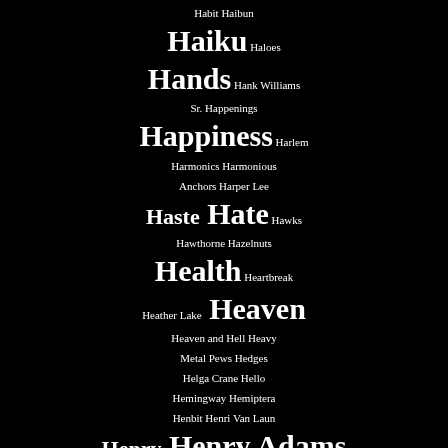Habit Haibun Haiku Haloes Hands Hank Williams Sr. Happenings Happiness Harlem Harmonics Harmonious Anchors Harper Lee Haste Hate Hawks Hawthorne Hazelnuts Health Heartbreak Heather Lake Heaven Heaven and Hell Heavy Metal Pews Hedges Helga Crane Hello Hemingway Hemiptera Henbit Henri Van Laun Henry Henry Adams Henry Altemus Henry James Heroes Heroism Herons Hiding High Mountain Lakes High Street High Water Highway 61 Highway 99